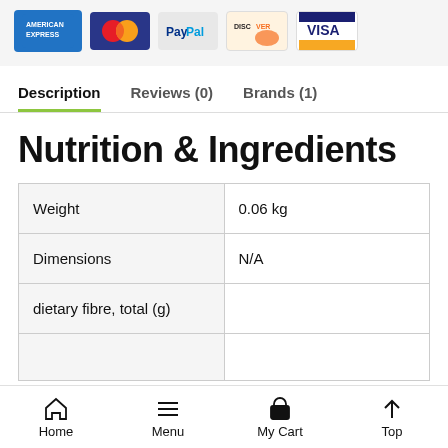[Figure (logo): Payment method logos: American Express, Mastercard, PayPal, Discover, Visa]
Description   Reviews (0)   Brands (1)
Nutrition & Ingredients
| Weight | 0.06 kg |
| Dimensions | N/A |
| dietary fibre, total (g) |  |
|  |  |
Home   Menu   My Cart   Top